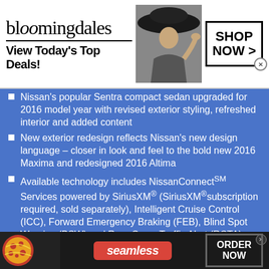[Figure (screenshot): Bloomingdale's advertisement banner with logo, tagline 'View Today's Top Deals!', a woman model in hat, and a 'SHOP NOW >' button]
Nissan's popular Sentra compact sedan upgraded for 2016 model year with revised exterior styling, refreshed interior and added content
New exterior redesign reflects Nissan's new design language – closer in look and feel to the bold new 2016 Maxima and redesigned 2016 Altima
Available technology includes NissanConnect℠ Services powered by SiriusXM® (SiriusXM® subscription required, sold separately), Intelligent Cruise Control (ICC), Forward Emergency Braking (FEB), Blind Spot Warning (BSW) and Rear Cross Traffic Alert (RCTA)
[Figure (screenshot): Seamless food delivery advertisement with pizza image, Seamless logo badge, and ORDER NOW button]